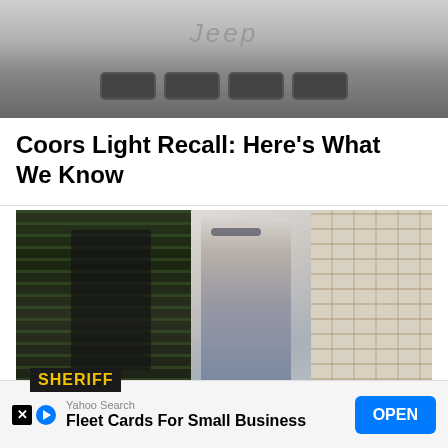[Figure (photo): Top portion of a Jeep vehicle grille photographed from the front, showing the Jeep logo in italic text above rectangular grille slots, in muted gray tones]
Coors Light Recall: Here’s What We Know
[Figure (photo): Two-panel photograph: left panel shows a person wearing a black SHERIFF vest/jacket with yellow text, seen from behind; right panel shows a man in a gray suit with sunglasses and dark hair shaking hands, holding books, in front of a brick wall]
Yahoo Search
Fleet Cards For Small Business
OPEN